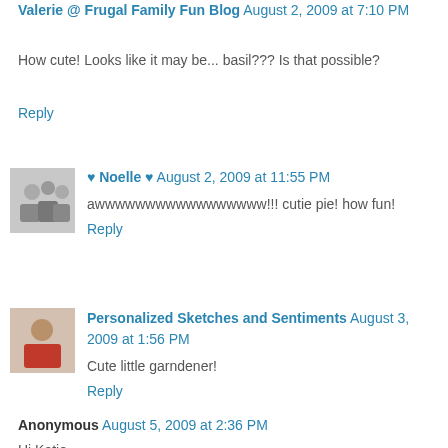Valerie @ Frugal Family Fun Blog August 2, 2009 at 7:10 PM
How cute! Looks like it may be... basil??? Is that possible?
Reply
♥ Noelle ♥ August 2, 2009 at 11:55 PM
awwwwwwwwwwwwwwwww!!! cutie pie! how fun!
Reply
Personalized Sketches and Sentiments August 3, 2009 at 1:56 PM
Cute little garndener!
Reply
Anonymous August 5, 2009 at 2:36 PM
Hi Katie,
Just checking in on you guys, seems like we haven't seen